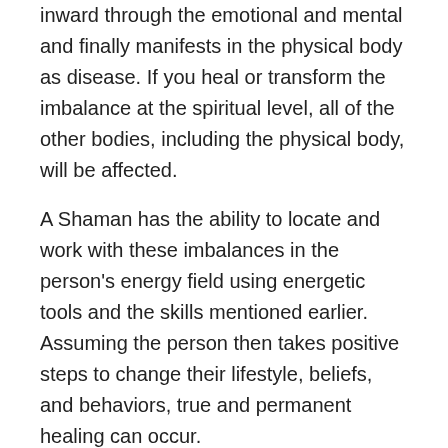inward through the emotional and mental and finally manifests in the physical body as disease. If you heal or transform the imbalance at the spiritual level, all of the other bodies, including the physical body, will be affected.
A Shaman has the ability to locate and work with these imbalances in the person's energy field using energetic tools and the skills mentioned earlier. Assuming the person then takes positive steps to change their lifestyle, beliefs, and behaviors, true and permanent healing can occur.
Let's look at an example such as cancer.
Western Medicine is Not Holistic in Nature